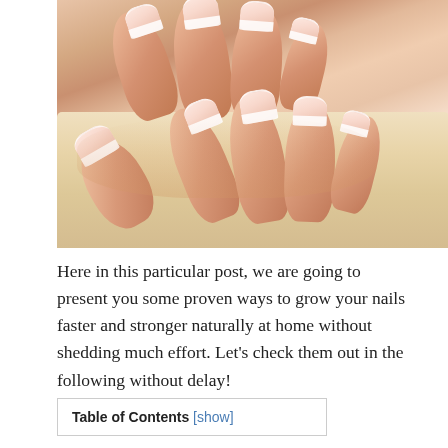[Figure (photo): Close-up photo of two hands with manicured French-tip nails resting on a fluffy cream-colored towel]
Here in this particular post, we are going to present you some proven ways to grow your nails faster and stronger naturally at home without shedding much effort. Let's check them out in the following without delay!
| Table of Contents [show] |